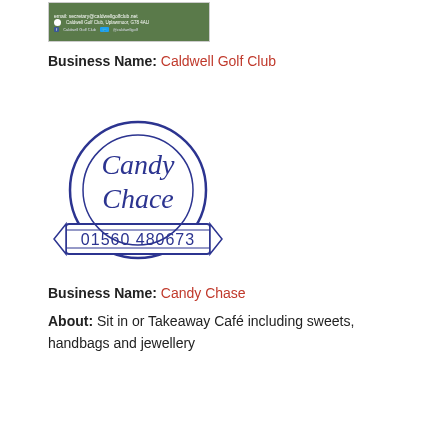[Figure (logo): Caldwell Golf Club logo banner showing email: secretary@caldwellgolfclub.net, address: Caldwell Golf Club, Uplawmoor, G78 4AU, and social media links for Facebook and Twitter]
Business Name: Caldwell Golf Club
[Figure (logo): Candy Chace logo: circular navy blue logo with script text 'Candy Chace' and a banner ribbon at the bottom showing phone number 01560 480673]
Business Name: Candy Chase
About: Sit in or Takeaway Café including sweets, handbags and jewellery